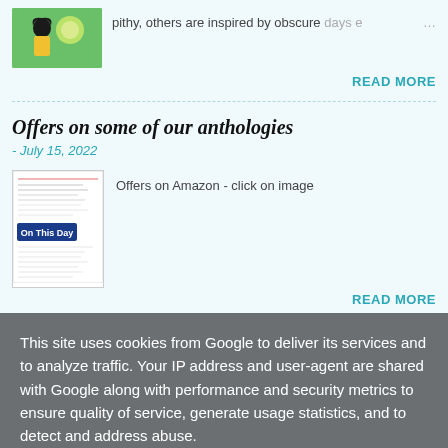[Figure (illustration): Thumbnail image of a girl with dark hair in yellow top against green background]
pithy, others are inspired by obscure days e ...
READ MORE
Offers on some of our anthologies
- July 15, 2022
[Figure (illustration): Book cover image showing On This Day anthology]
Offers on Amazon - click on image
READ MORE
This site uses cookies from Google to deliver its services and to analyze traffic. Your IP address and user-agent are shared with Google along with performance and security metrics to ensure quality of service, generate usage statistics, and to detect and address abuse.
LEARN MORE   OK